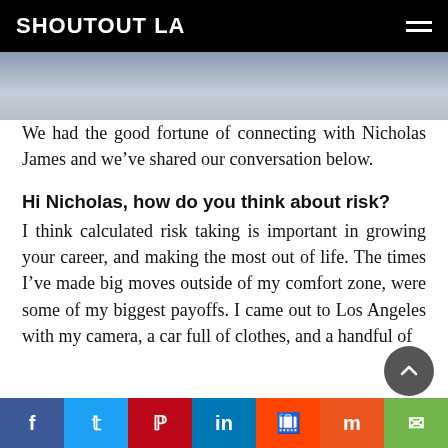SHOUTOUT LA
[Figure (photo): Partial photo of a person, cropped at top of page]
We had the good fortune of connecting with Nicholas James and we’ve shared our conversation below.
Hi Nicholas, how do you think about risk?
I think calculated risk taking is important in growing your career, and making the most out of life. The times I’ve made big moves outside of my comfort zone, were some of my biggest payoffs. I came out to Los Angeles with my camera, a car full of clothes, and a handful of